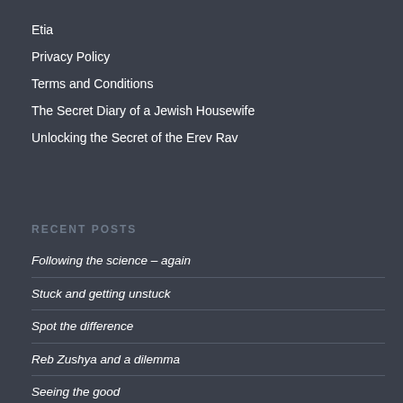Etia
Privacy Policy
Terms and Conditions
The Secret Diary of a Jewish Housewife
Unlocking the Secret of the Erev Rav
RECENT POSTS
Following the science – again
Stuck and getting unstuck
Spot the difference
Reb Zushya and a dilemma
Seeing the good